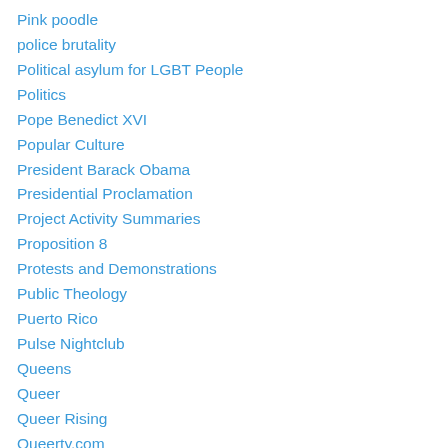Pink poodle
police brutality
Political asylum for LGBT People
Politics
Pope Benedict XVI
Popular Culture
President Barack Obama
Presidential Proclamation
Project Activity Summaries
Proposition 8
Protests and Demonstrations
Public Theology
Puerto Rico
Pulse Nightclub
Queens
Queer
Queer Rising
Queerty.com
Racism
Rainbow flag